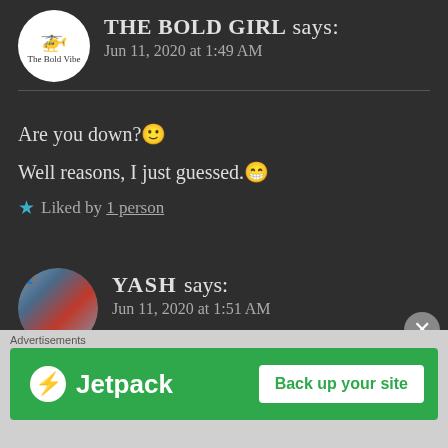THE BOLD GIRL says: Jun 11, 2020 at 1:49 AM
Are you down?🙂
Well reasons, I just guessed.😁
★ Liked by 1 person
YASH says: Jun 11, 2020 at 1:51 AM
No no😅. Bilkul nahi. Stop guessing. 😅
Advertisements
[Figure (logo): Jetpack advertisement banner with green background, Jetpack logo with lightning bolt icon, and 'Back up your site' button]